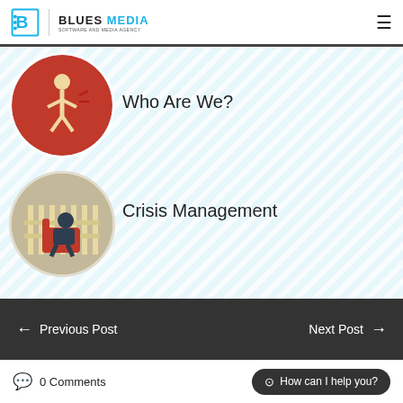Blues Media — Software and Media Agency
[Figure (illustration): Circular illustration with red background showing a cartoon figure walking]
Who Are We?
[Figure (illustration): Circular illustration with tan/beige background showing a man sitting in a red chair near a fence]
Crisis Management
← Previous Post
Next Post →
0 Comments
How can I help you?